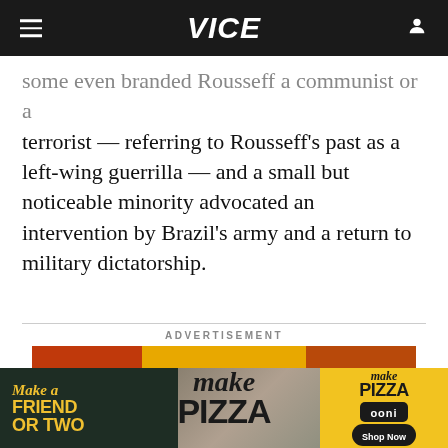VICE
some even branded Rousseff a communist or a terrorist — referring to Rousseff's past as a left-wing guerrilla — and a small but noticeable minority advocated an intervention by Brazil's army and a return to military dictatorship.
ADVERTISEMENT
[Figure (photo): Advertisement banner: Make Pizza (top portion showing pizzas and Make Pizza text on yellow background) overlaid with second ad showing 'Make a FRIEND OR TWO' text on dark green background, a photo of people with a dog, and 'Make PIZZA ooni Shop Now' on yellow background]